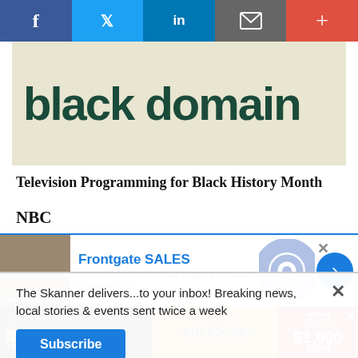[Figure (other): Social media sharing bar with Facebook, Twitter, LinkedIn, email, and plus buttons]
[Figure (logo): Black domain logo text in dark green bold font on beige background]
Television Programming for Black History Month
NBC
Feb. 20: “Little Richard.” NBC original movie stars Leon,
The Skanner delivers...to your inbox! Breaking news, local stories & events sent twice a week
[Figure (other): Frontgate SALES advertisement: 20% off sitewide plus free shipping from August 19-22]
[Figure (other): Solar panel advertisement in Spanish: Paneles Solares + Bateria, Se Buscan Vendedores, 310-467-5410, $1,000 CASH bonus]